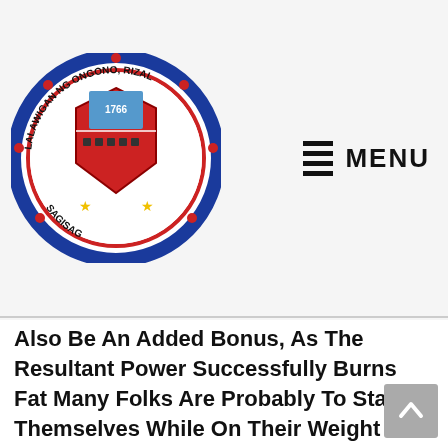MENU
[Figure (logo): Circular seal/logo of Rizal Province Philippines, with text 'LALAWIGAN NG RIZAL' around the border, year 1766, red shield emblem with decorative elements, stars at bottom, and text 'SAGISAG' at bottom.]
Also Be An Added Bonus, As The Resultant Power Successfully Burns Fat Many Folks Are Probably To Starve Themselves While On Their Weight Reduction Journey While Heavily Restricting Technically Will Help You Shed Weight Loss The Kilos, It S Not Wholesome At All The Point To Be Noted Right Here Is That A Good Weight Loss Plan Ought To Help You Shed Weight, But Not Muscle Mass Losing Muscle Mass Will Negatively Impact The Pure Core Energy And Stamina Of Your Body, So It S Important To Incorporate A Balanced, High Protein Food Plan Into Your Life Style